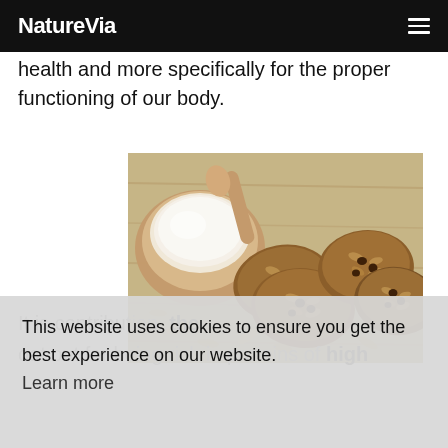NatureVia
health and more specifically for the proper functioning of our body.
[Figure (photo): Oat cookies and oats on a wooden table with a bowl of oat flour]
It is contribution, the oat out for being rich in proteins of high
This website uses cookies to ensure you get the best experience on our website. Learn more